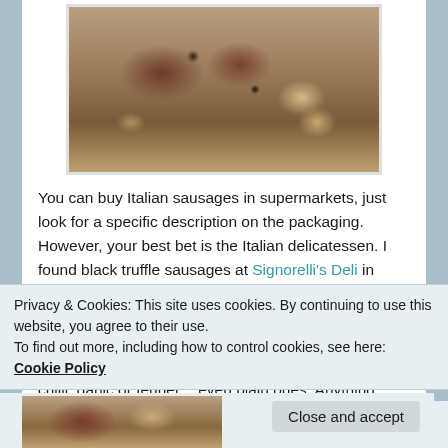[Figure (photo): Close-up photo of pasta dish with Italian sausage, black truffles, and rigatoni pasta on a white plate]
You can buy Italian sausages in supermarkets, just look for a specific description on the packaging. However, your best bet is the Italian delicatessen. I found black truffle sausages at Signorelli's Deli in Cambridge, which complemented the earthy mushroom flavours in this dish. I even enhanced the recipe with a few drops of truffle oil. However, if truffles aren't your thing, there are sausages with chilli, garlic or fennel… even plain ones. Anything goes really, as long as they are Italiano!
Privacy & Cookies: This site uses cookies. By continuing to use this website, you agree to their use.
To find out more, including how to control cookies, see here: Cookie Policy
[Figure (photo): Bottom strip showing partial food photograph]